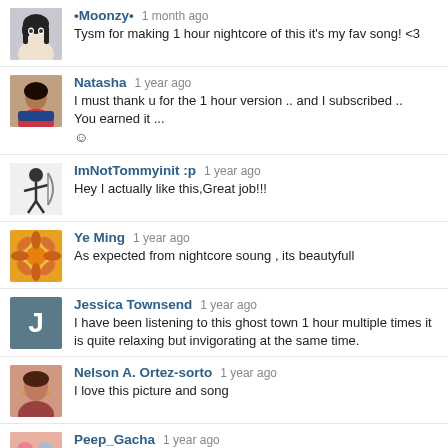•Moonzy• 1 month ago — Tysm for making 1 hour nightcore of this it's my fav song! <3
Natasha 1 year ago — I must thank u for the 1 hour version .. and I subscribed .. You earned it ... ☺
ImNotTommyinit :p 1 year ago — Hey I actually like this,Great job!!!
Ye Ming 1 year ago — As expected from nightcore soung , its beautyfull
Jessica Townsend 1 year ago — I have been listening to this ghost town 1 hour multiple times it is quite relaxing but invigorating at the same time.
Nelson A. Ortez-sorto 1 year ago — I love this picture and song
Peep_Gacha 1 year ago — Ghost Town Lyrics By Layto & Neoni